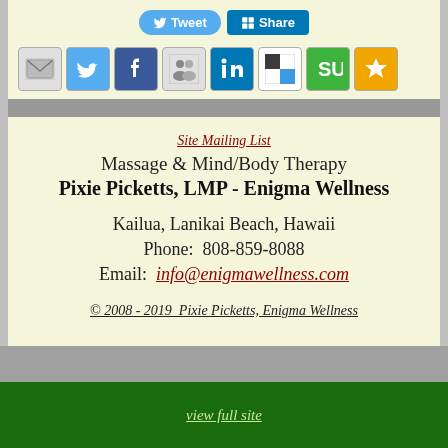[Figure (screenshot): Social sharing buttons row: Tweet button (blue rounded) and Share button (LinkedIn blue)]
[Figure (screenshot): Row of 8 social media icon buttons: email, twitter, facebook, people/groups, linkedin, delicious, stumbleupon, favorites star]
Site Mailing List
Massage & Mind/Body Therapy
Pixie Picketts, LMP - Enigma Wellness
Kailua, Lanikai Beach, Hawaii
Phone:  808-859-8088
Email:  info@enigmawellness.com
© 2008 - 2019  Pixie Picketts, Enigma Wellness
view full site